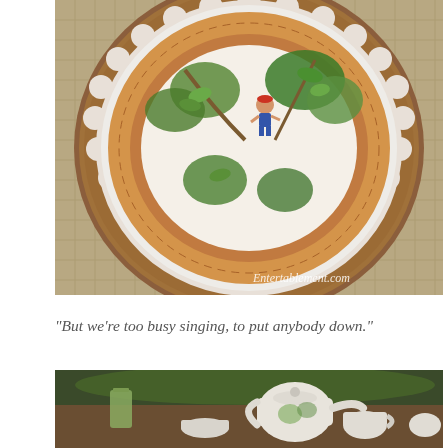[Figure (photo): Overhead view of decorative ceramic plate with illustrated scene of a boy in a tree among green foliage, set on a white scalloped plate atop a round wooden charger on a woven placemat. Watermark reads Entertablement.com in lower right corner.]
“But we’re too busy singing, to put anybody down.”
[Figure (photo): Table setting with green glass, decorative teapot and cups with botanical illustration, small bowls, and other tableware arranged outdoors with green foliage in background.]